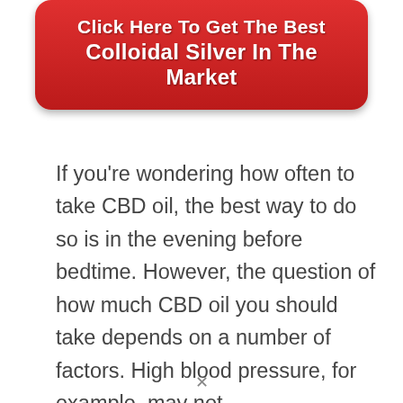[Figure (other): Red rounded button with white bold text reading 'Click Here To Get The Best Colloidal Silver In The Market']
If you're wondering how often to take CBD oil, the best way to do so is in the evening before bedtime. However, the question of how much CBD oil you should take depends on a number of factors. High blood pressure, for example, may not